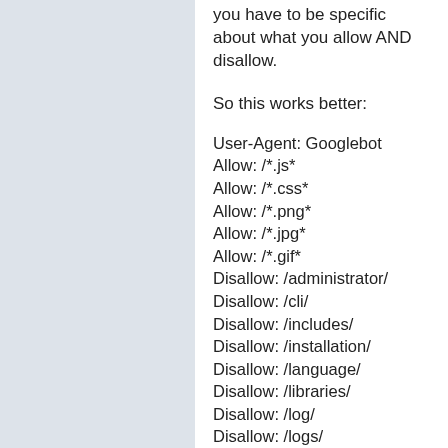you have to be specific about what you allow AND disallow.
So this works better:
User-Agent: Googlebot
Allow: /*.js*
Allow: /*.css*
Allow: /*.png*
Allow: /*.jpg*
Allow: /*.gif*
Disallow: /administrator/
Disallow: /cli/
Disallow: /includes/
Disallow: /installation/
Disallow: /language/
Disallow: /libraries/
Disallow: /log/
Disallow: /logs/
Disallow: /tmp/
Googlebot will have access to ALL js, css, ... files on the